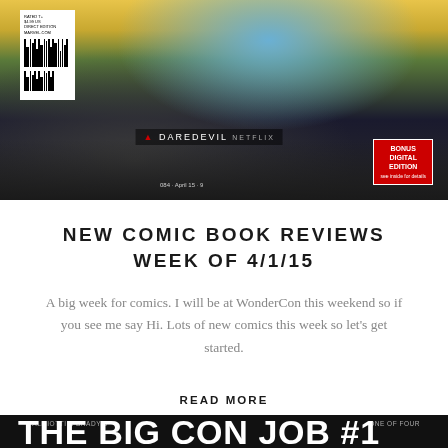[Figure (photo): Comic book cover showing Captain America with shield among skulls, with barcode, Daredevil Netflix logo, and Bonus Digital Edition badge]
NEW COMIC BOOK REVIEWS WEEK OF 4/1/15
A big week for comics. I will be at WonderCon this weekend so if you see me say Hi. Lots of new comics this week so let's get started.
READ MORE
[Figure (photo): Bottom portion of a comic book cover with black background reading PALMIOTTI & BRADY'S in small text, ONE OF FOUR on the right, and large partial title text at the bottom]